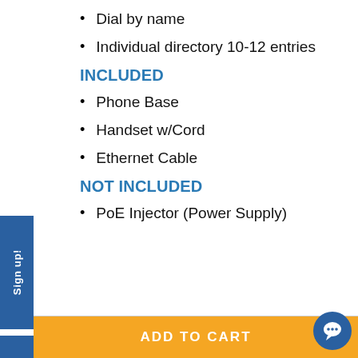Dial by name
Individual directory 10-12 entries
INCLUDED
Phone Base
Handset w/Cord
Ethernet Cable
NOT INCLUDED
PoE Injector (Power Supply)
ADD TO CART